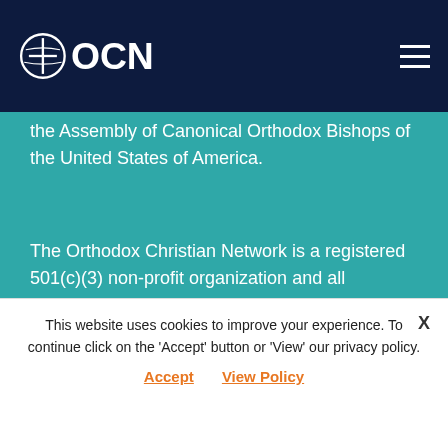OCN
the Assembly of Canonical Orthodox Bishops of the United States of America.
The Orthodox Christian Network is a registered 501(c)(3) non-profit organization and all donations are tax-deductible to the extent allowed by law.
About Us
Purpose, People, Calendar, Advertise
Sign up for OCN Newsletter
This website uses cookies to improve your experience. To continue click on the 'Accept' button or 'View' our privacy policy.